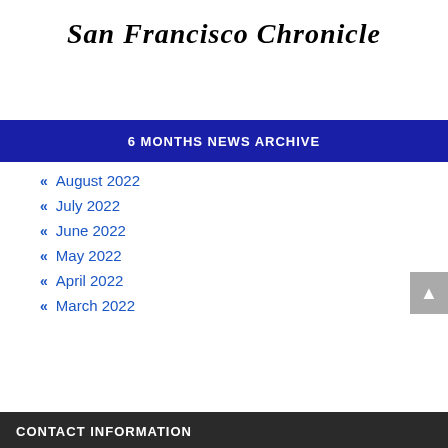San Francisco Chronicle
6 MONTHS NEWS ARCHIVE
August 2022
July 2022
June 2022
May 2022
April 2022
March 2022
CONTACT INFORMATION